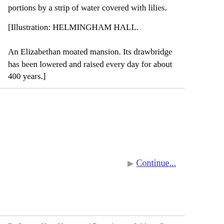portions by a strip of water covered with lilies.
[Illustration: HELMINGHAM HALL.

An Elizabethan moated mansion. Its drawbridge has been lowered and raised every day for about 400 years.]
▶ Continue...
Preface • Ham House and Petersham • Walton-On-Thames (scold's Bridle) • Harrow • Holwood House, Keston • Chigwell, Essex • Waltham Abbey and Cross • Downe • Epsom: Its Races and Its Salts • Epping Forest • Hampton Court • Rye House, Broxbourne • Hatfield House,